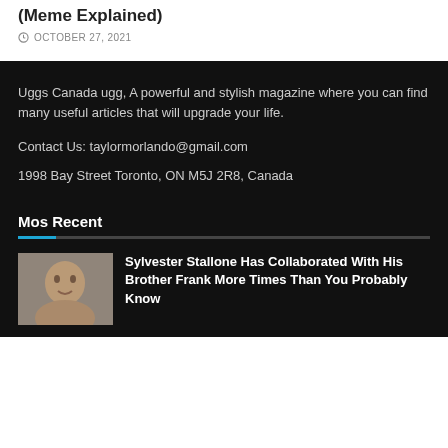(Meme Explained)
OCTOBER 27, 2021
Uggs Canada ugg, A powerful and stylish magazine where you can find many useful articles that will upgrade your life.
Contact Us: taylormorlando@gmail.com
1998 Bay Street Toronto, ON M5J 2R8, Canada
Mos Recent
Sylvester Stallone Has Collaborated With His Brother Frank More Times Than You Probably Know